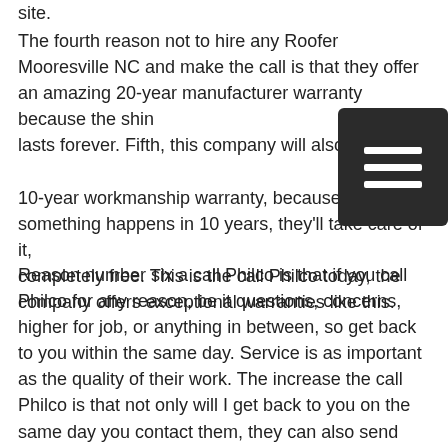site.
The fourth reason not to hire any Roofer Mooresville NC and make the call is that they offer an amazing 20-year manufacturer warranty because the shingle lasts forever. Fifth, this company will also offer you a 10-year workmanship warranty, because if something happens in 10 years, they'll take care of it, completely free. This is the call Philco today, the company offers exceptional warranties like this.
Reason number six a call Philco is that if you call Philco for any reason, be it questions, concerns, higher for job, or anything in between, so get back to you within the same day. Service is as important as the quality of their work. The increase the call Philco is that not only will I get back to you on the same day you contact them, they can also send somebody to your home, or your work site to offer you a free quote.